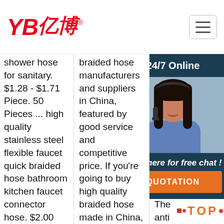[Figure (logo): YB亿博 logo in red italic text with registered trademark symbol]
[Figure (other): Hamburger menu button icon (three horizontal lines in a rounded rectangle border)]
shower hose for sanitary. $1.28 - $1.71 Piece. 50 Pieces ... high quality stainless steel flexible faucet quick braided hose bathroom kitchen faucet connector hose. $2.00 Piece. 1 Piece ... Large caliber stainless steel wire braided water hose pipe. $6.50 - $6.80 ...
braided hose manufacturers and suppliers in China, featured by good service and competitive price. If you're going to buy high quality braided hose made in China, welcome to get more information from our factory. Cold Water Basin Faucet, Plastic Angle Valve, Quarter Turn Plastic ABS Chrome Angle Valve.
Material: stainless steel 304 mes... laye inne galv stri stee cus... Pro... The anti coa stee... provides good mechanical protection and waterproof...tion; the outer part is a stainless steel woven mesh ...
[Figure (photo): Customer service agent - woman with headset smiling, with 24/7 Online chat overlay panel showing chat invitation and QUOTATION button]